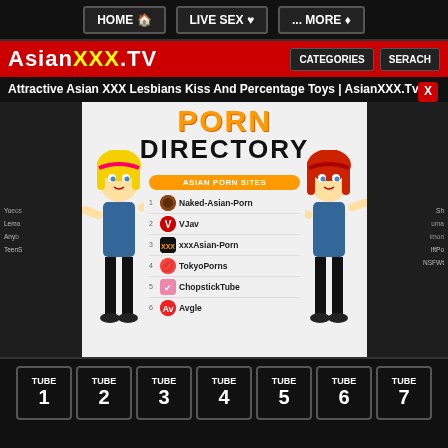HOME | LIVE SEX | ... MORE
[Figure (screenshot): AsianXXX.TV logo with CATEGORIES and SERACH buttons on red background]
Attractive Asian XXX Lesbians Kiss And Percentage Toys | AsianXXX.Tv
[Figure (screenshot): Porn Directory popup with Asian Porn Sites list: 1 Naked-Asian-Porn, 2 VJav, 3 xxxAsian-Porn, 4 TokyoPortns, 5 ChopstickTube, 6 Avgle, with cartoon characters on sides]
TUBE 1 | TUBE 2 | TUBE 3 | TUBE 4 | TUBE 5 | TUBE 6 | TUBE 7